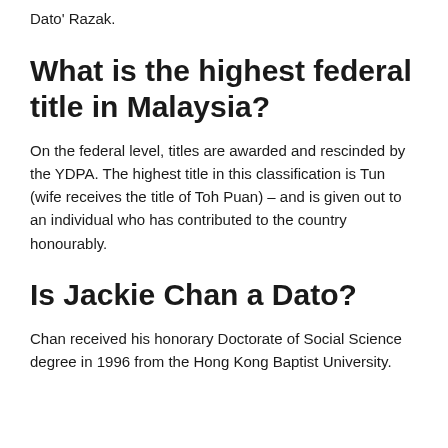Dato' Razak.
What is the highest federal title in Malaysia?
On the federal level, titles are awarded and rescinded by the YDPA. The highest title in this classification is Tun (wife receives the title of Toh Puan) – and is given out to an individual who has contributed to the country honourably.
Is Jackie Chan a Dato?
Chan received his honorary Doctorate of Social Science degree in 1996 from the Hong Kong Baptist University.